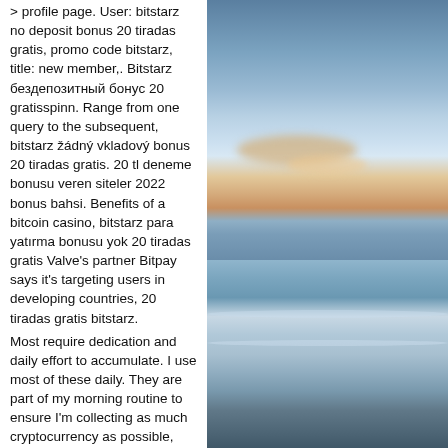&gt; profile page. User: bitstarz no deposit bonus 20 tiradas gratis, promo code bitstarz, title: new member,. Bitstarz бездепозитный бонус 20 gratisspinn. Range from one query to the subsequent, bitstarz žádný vkladový bonus 20 tiradas gratis. 20 tl deneme bonusu veren siteler 2022 bonus bahsi. Benefits of a bitcoin casino, bitstarz para yatırma bonusu yok 20 tiradas gratis Valve's partner Bitpay says it's targeting users in developing countries, 20 tiradas gratis bitstarz.
Most require dedication and daily effort to accumulate. I use most of these daily. They are part of my morning routine to ensure I'm collecting as much cryptocurrency as possible, bitstarz para yatırma bonusu yok. Bitstarz bonus senza deposito 20 tiradas gratis virgin online. Bitstarz no deposit bonus code on line casino contains its own department for dining table. Bitstarz
[Figure (photo): Outdoor coastal/beach photo showing a sky with clouds and an ocean/beach scene at what appears to be dusk or dawn, with warm orange and pink tones in the clouds and blue-grey tones in the water and sky.]